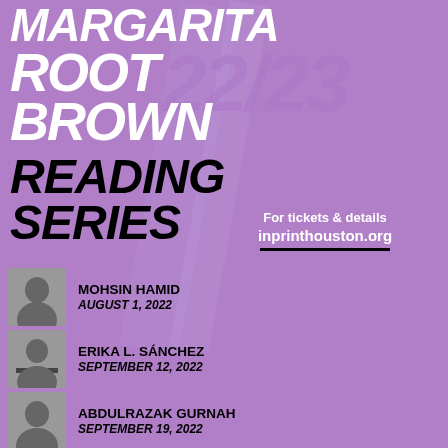MARGARITA ROOT BROWN 22/23 READING SERIES
For tickets & details inprinthouston.org
MOHSIN HAMID / AUGUST 1, 2022
ERIKA L. SÁNCHEZ / SEPTEMBER 12, 2022
ABDULRAZAK GURNAH / SEPTEMBER 19, 2022
JAVIER ZAMORA / OCTOBER ?, 2022